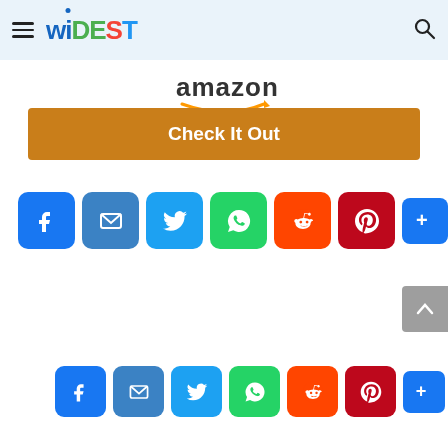Widest — navigation header with hamburger menu, logo, and search icon
[Figure (logo): Amazon logo with arrow]
Check It Out
[Figure (other): Social sharing icons row: Facebook, Email, Twitter, WhatsApp, Reddit, Pinterest, More (+)]
[Figure (other): Back to top arrow button]
[Figure (other): Social sharing icons row 2 (smaller): Facebook, Email, Twitter, WhatsApp, Reddit, Pinterest, More (+)]